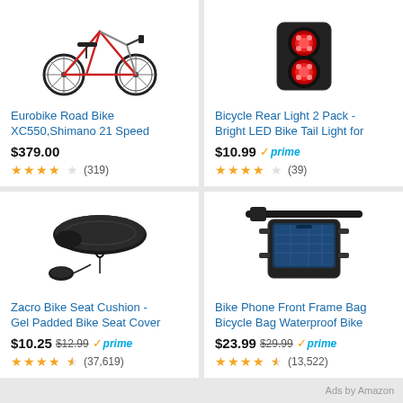[Figure (photo): Eurobike road bike XC550 product photo showing black and red bicycle]
Eurobike Road Bike XC550,Shimano 21 Speed
$379.00
★★★★ (319)
[Figure (photo): Bicycle rear light 2 pack - red LED tail lights product photo]
Bicycle Rear Light 2 Pack - Bright LED Bike Tail Light for
$10.99 prime
★★★★ (39)
[Figure (photo): Zacro black gel bike seat cushion cover product photo]
Zacro Bike Seat Cushion - Gel Padded Bike Seat Cover
$10.25 $12.99 prime
★★★★½ (37,619)
[Figure (photo): Bike phone front frame bag waterproof with smartphone mounted on bicycle handlebar]
Bike Phone Front Frame Bag Bicycle Bag Waterproof Bike
$23.99 $29.99 prime
★★★★½ (13,522)
Ads by Amazon